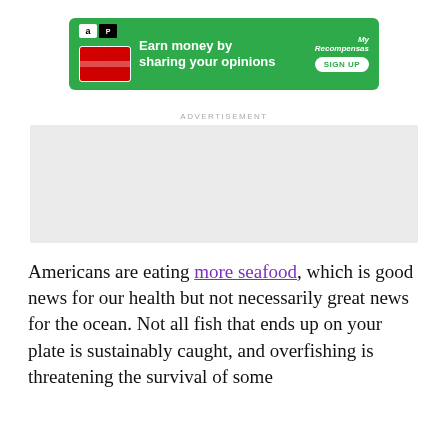[Figure (other): Green advertisement banner for MyRecompensas survey rewards program with Amazon and Puma logos, gift card image, text 'Earn money by sharing your opinions' and a SIGN UP button]
ADVERTISEMENT
[Figure (other): Gray placeholder advertisement rectangle]
Americans are eating more seafood, which is good news for our health but not necessarily great news for the ocean. Not all fish that ends up on your plate is sustainably caught, and overfishing is threatening the survival of some